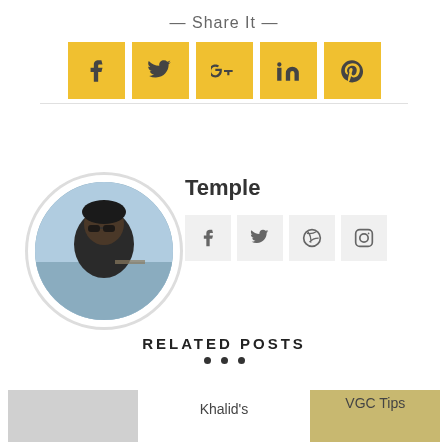— Share It —
[Figure (infographic): Row of 5 yellow square social sharing buttons: Facebook (f), Twitter (bird), Google+ (g+), LinkedIn (in), Pinterest (p)]
[Figure (photo): Circular profile photo of 'Temple' — a person wearing sunglasses near a waterfront]
Temple
[Figure (infographic): Row of 4 light-gray square social icon buttons: Facebook, Twitter, Dribbble, Instagram]
RELATED POSTS
• • •
Khalid's
[Figure (photo): Thumbnail image for related post — yellowish/tan colored photo]
VGC Tips